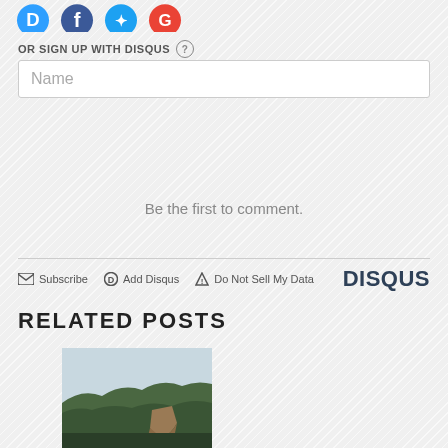[Figure (logo): Social media icons: Disqus (blue D), Facebook (dark blue f), Twitter (light blue bird), Google (red G) - partially cropped at top]
OR SIGN UP WITH DISQUS ?
Name
Be the first to comment.
Subscribe  Add Disqus  Do Not Sell My Data  DISQUS
RELATED POSTS
[Figure (photo): Landscape photo showing forested mountain cliffs with a river valley below, partially cropped]